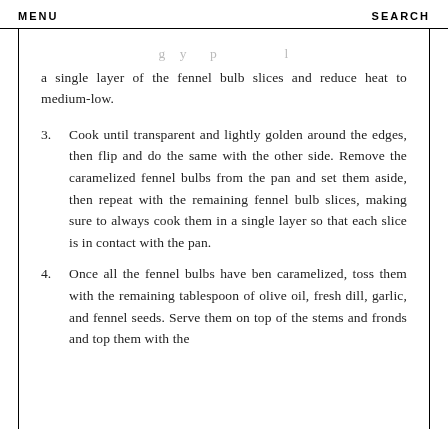MENU    SEARCH
a single layer of the fennel bulb slices and reduce heat to medium-low.
3. Cook until transparent and lightly golden around the edges, then flip and do the same with the other side. Remove the caramelized fennel bulbs from the pan and set them aside, then repeat with the remaining fennel bulb slices, making sure to always cook them in a single layer so that each slice is in contact with the pan.
4. Once all the fennel bulbs have ben caramelized, toss them with the remaining tablespoon of olive oil, fresh dill, garlic, and fennel seeds. Serve them on top of the stems and fronds and top them with the